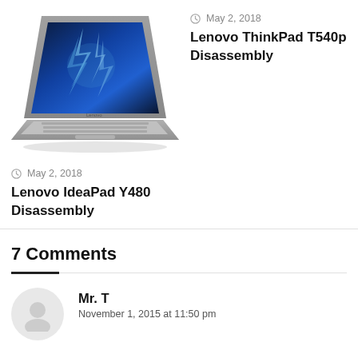[Figure (photo): Lenovo ThinkPad T540p laptop computer shown at angle with blue lightning wallpaper on screen]
May 2, 2018
Lenovo ThinkPad T540p Disassembly
May 2, 2018
Lenovo IdeaPad Y480 Disassembly
7 Comments
Mr. T
November 1, 2015 at 11:50 pm